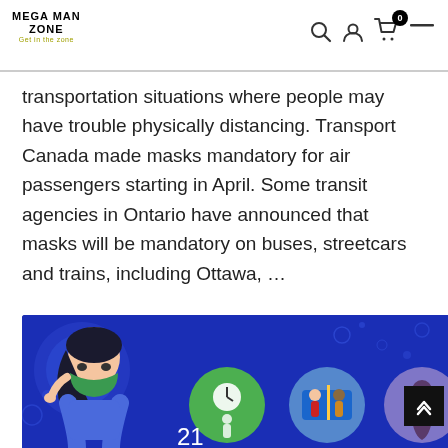Mega Man Zone - Get in the zone
transportation situations where people may have trouble physically distancing. Transport Canada made masks mandatory for air passengers starting in April. Some transit agencies in Ontario have announced that masks will be mandatory on buses, streetcars and trains, including Ottawa, …
Continue Reading →
[Figure (illustration): Blue illustrated banner showing a woman wearing a green face mask, circular icons depicting health/safety activities including a clock/grocery scene, transit/commuting scene, and a figure, with the number 21 visible at the bottom.]